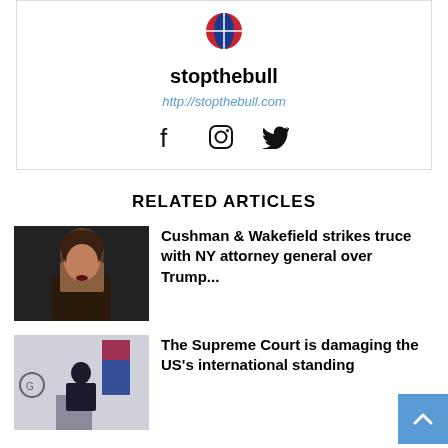[Figure (logo): Stopthebull logo - a circular icon with red and blue colors]
stopthebull
http://stopthebull.com
[Figure (infographic): Social media icons: Facebook, Instagram, Twitter]
RELATED ARTICLES
[Figure (photo): Woman speaking, related to Cushman & Wakefield article]
Cushman & Wakefield strikes truce with NY attorney general over Trump...
[Figure (photo): Man in suit at podium with US flag, related to Supreme Court article]
The Supreme Court is damaging the US's international standing